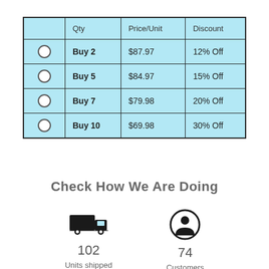|  | Qty | Price/Unit | Discount |
| --- | --- | --- | --- |
| ○ | Buy 2 | $87.97 | 12% Off |
| ○ | Buy 5 | $84.97 | 15% Off |
| ○ | Buy 7 | $79.98 | 20% Off |
| ○ | Buy 10 | $69.98 | 30% Off |
Check How We Are Doing
[Figure (infographic): Truck icon above number 102 with label 'Units shipped']
[Figure (infographic): Person/user icon in circle above number 74 with label 'Customers']